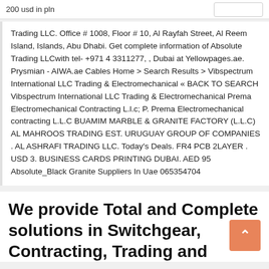200 usd in pln
Trading LLC. Office # 1008, Floor # 10, Al Rayfah Street, Al Reem Island, Islands, Abu Dhabi. Get complete information of Absolute Trading LLCwith tel- +971 4 3311277, , Dubai at Yellowpages.ae. Prysmian - AIWA.ae Cables Home > Search Results > Vibspectrum International LLC Trading & Electromechanical « BACK TO SEARCH Vibspectrum International LLC Trading & Electromechanical Prema Electromechanical Contracting L.l.c; P. Prema Electromechanical contracting L.L.C BUAMIM MARBLE & GRANITE FACTORY (L.L.C) AL MAHROOS TRADING EST. URUGUAY GROUP OF COMPANIES . AL ASHRAFI TRADING LLC. Today's Deals. FR4 PCB 2LAYER . USD 3. BUSINESS CARDS PRINTING DUBAI. AED 95 Absolute_Black Granite Suppliers In Uae 065354704
We provide Total and Complete solutions in Switchgear, Contracting, Trading and